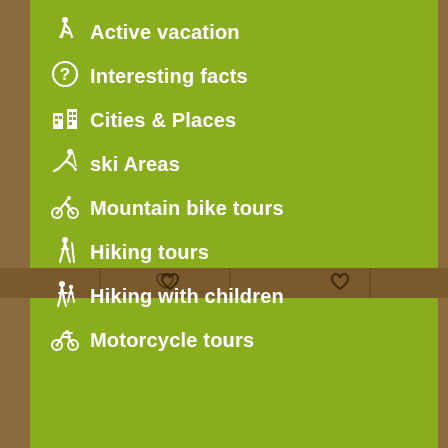Active vacation
Interesting facts
Cities & Places
ski Areas
Mountain bike tours
Hiking tours
Hiking with children
Motorcycle tours
[Figure (photo): Wooden plank divider strip with heart carvings]
[Figure (illustration): Green lower panel area]